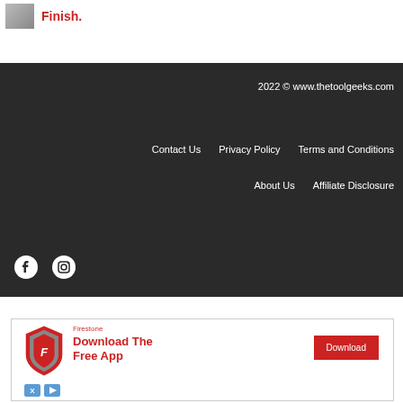Finish.
2022 © www.thetoolgeeks.com
Contact Us   Privacy Policy   Terms and Conditions
About Us   Affiliate Disclosure
[Figure (illustration): Facebook and Instagram social media icons in white on dark background]
[Figure (illustration): Firestone advertisement: Download The Free App with a Download button and Firestone shield logo]